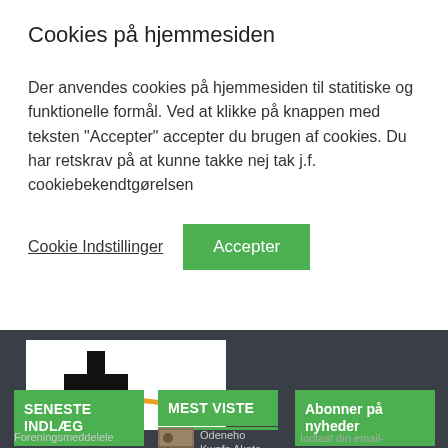Cookies på hjemmesiden
Der anvendes cookies på hjemmesiden til statitiske og funktionelle formål. Ved at klikke på knappen med teksten "Accepter" accepter du brugen af cookies. Du har retskrav på at kunne takke nej tak j.f. cookiebekendtgørelsen
Cookie Indstillinger
Accepter
[Figure (logo): Organization logo with cross/star shape and orange swoosh on white background]
SENESTE INDLÆG
MEST VISTE
Abonner på nyheder
Foreningsmeddelel
[Figure (photo): Small thumbnail photo]
Odeneho Kwafo Akoto
Indtast din email-